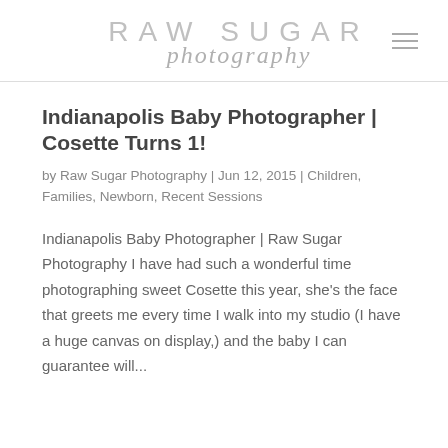RAW SUGAR photography
Indianapolis Baby Photographer | Cosette Turns 1!
by Raw Sugar Photography | Jun 12, 2015 | Children, Families, Newborn, Recent Sessions
Indianapolis Baby Photographer | Raw Sugar Photography I have had such a wonderful time photographing sweet Cosette this year, she's the face that greets me every time I walk into my studio (I have a huge canvas on display,) and the baby I can guarantee will...